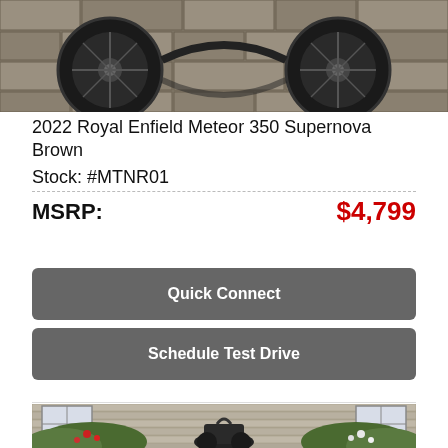[Figure (photo): Close-up photo of motorcycle wheels and chassis against a stone wall background]
2022 Royal Enfield Meteor 350 Supernova Brown
Stock: #MTNR01
MSRP: $4,799
Quick Connect
Schedule Test Drive
[Figure (photo): Photo of a dark Royal Enfield motorcycle parked in front of a house with flowers and shrubs]